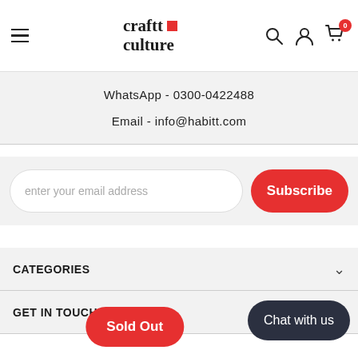[Figure (logo): Craftt Culture logo with red square accent, hamburger menu icon, search icon, user icon, and cart icon with badge '0']
WhatsApp - 0300-0422488
Email - info@habitt.com
enter your email address
Subscribe
CATEGORIES
GET IN TOUCH
Sold Out
Chat with us